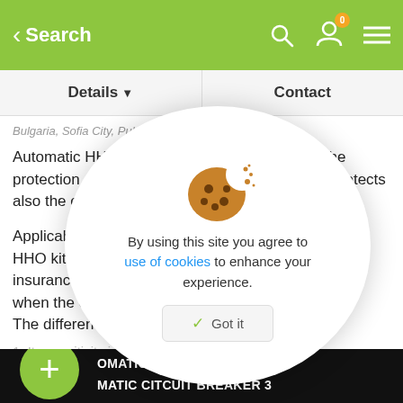< Search
Details ▾  |  Contact
Bulgaria, Sofia City, Published 3 weeks ago
Automatic HHO circuit breaker fuse 30A is for the protection of overloading your HHO generator. Protects also the charging system of overloading.
Applicable to: When the vehicle is equipped with an HHO kit, it is used to protect the line. Recoverable insurance aut... the protection circuit when the current reach...
The difference between ordinary insur...
1. Its sensitivity is very high, can prot...
[Figure (screenshot): Cookie consent overlay with cookie icon, text 'By using this site you agree to use of cookies to enhance your experience.' and a 'Got it' button]
[Figure (infographic): Bottom strip showing product image thumbnails with text 'OMATIC CIRCUIT BREAKER' and 'MATIC CITCUIT BREAKER 3' on black background, with green plus button overlay]